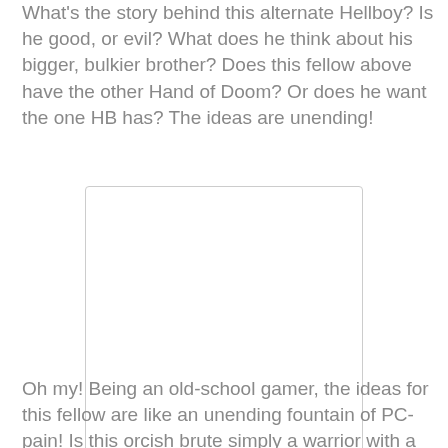What's the story behind this alternate Hellboy? Is he good, or evil? What does he think about his bigger, bulkier brother? Does this fellow above have the other Hand of Doom? Or does he want the one HB has? The ideas are unending!
[Figure (illustration): A blank white rectangular image placeholder with a light gray border]
Oh my! Being an old-school gamer, the ideas for this fellow are like an unending fountain of PC-pain! Is this orcish brute simply a warrior with a grudge, or is he something more? There is intelligence behind those eyes and a look of